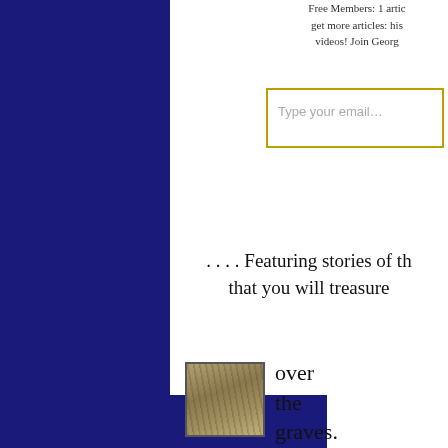Free Members: 1 article get more articles: his videos! Join Georg
Type your email…
. . . . Featuring stories of th that you will treasure
[Figure (photo): Small framed thumbnail photograph, sepia/black-and-white, showing a group of people or a crowd scene in a landscape setting]
over the graves. Old deeds can be